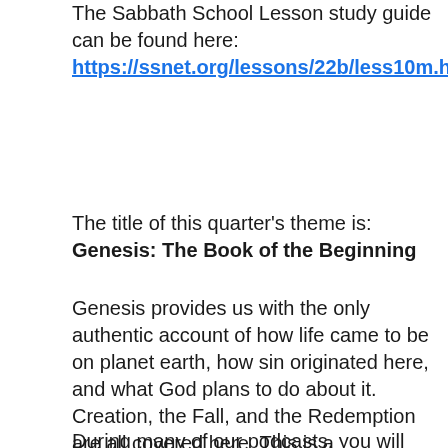The Sabbath School Lesson study guide can be found here:
https://ssnet.org/lessons/22b/less10m.html
The title of this quarter's theme is: Genesis: The Book of the Beginning
Genesis provides us with the only authentic account of how life came to be on planet earth, how sin originated here, and what God plans to do about it.  Creation, the Fall, and the Redemption are all covered here. This is a foundational book, and sets in place many principles for understanding the rest of God's Word.
During many of our podcasts, you will hear